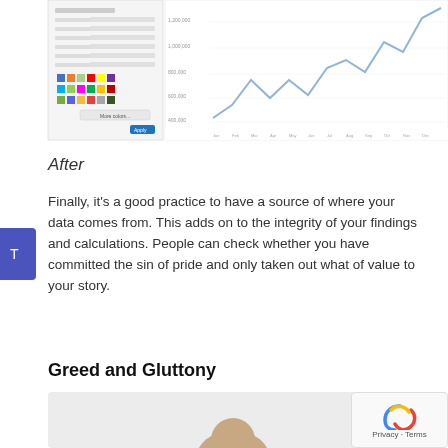[Figure (screenshot): Screenshot of a spreadsheet chart interface showing a line chart with a settings/format panel on the left side. The line chart shows an upward trending line with fluctuations.]
After
Finally, it’s a good practice to have a source of where your data comes from. This adds on to the integrity of your findings and calculations. People can check whether you have committed the sin of pride and only taken out what of value to your story.
Greed and Gluttony
[Figure (photo): Partial photo of a person, cropped at bottom of page.]